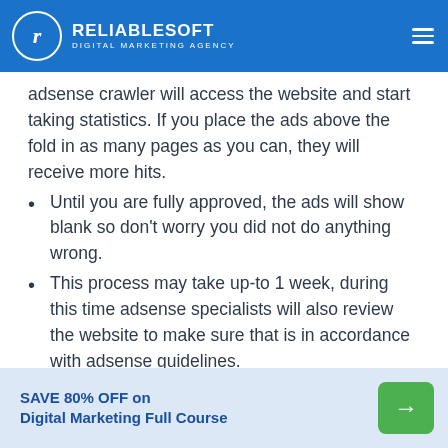RELIABLESOFT DIGITAL MARKETING AGENCY
adsense crawler will access the website and start taking statistics. If you place the ads above the fold in as many pages as you can, they will receive more hits.
Until you are fully approved, the ads will show blank so don't worry you did not do anything wrong.
This process may take up-to 1 week, during this time adsense specialists will also review the website to make sure that is in accordance with adsense guidelines.
SAVE 80% OFF on Digital Marketing Full Course